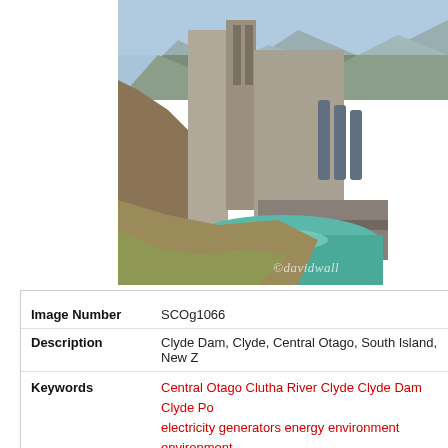[Figure (photo): Aerial/elevated photograph of Clyde Dam, showing large concrete dam structure with penstocks and powerhouse, turquoise water at base, brown hillside in foreground, mountains in background. Watermark reads ©davidwall]
| Image Number | SCOg1066 |
| Description | Clyde Dam, Clyde, Central Otago, South Island, New Z... |
| Keywords | Central Otago Clutha River Clyde Clyde Dam Clyde Po... electricity generators energy environment environment... hydro generation hydro lake hydro lakes hydro power h... lakes meridian N.Z. national grid New Zealand NZ Otag... supply powerhouse renewable energies renewable ene... sustainable energy technology water |
| Copyright: | davidwallphoto.com |